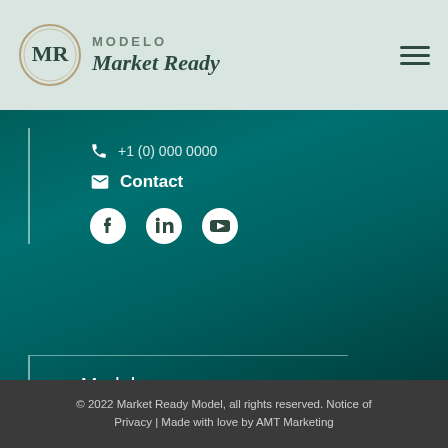MODELO Market Ready
Contact
Model
Alliances
Blog
© 2022 Market Ready Model, all rights reserved. Notice of Privacy | Made with love by AMT Marketing